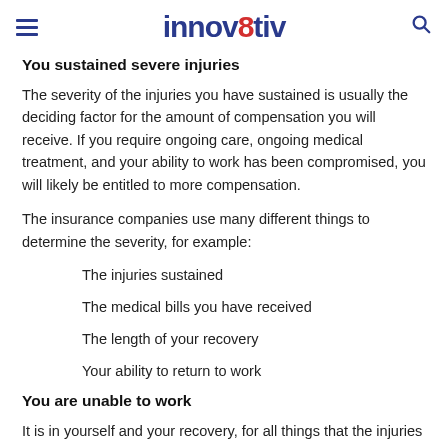innov8tiv
You sustained severe injuries
The severity of the injuries you have sustained is usually the deciding factor for the amount of compensation you will receive. If you require ongoing care, ongoing medical treatment, and your ability to work has been compromised, you will likely be entitled to more compensation.
The insurance companies use many different things to determine the severity, for example:
The injuries sustained
The medical bills you have received
The length of your recovery
Your ability to return to work
You are unable to work
It is in yourself and your recovery, for all things that the injuries is and